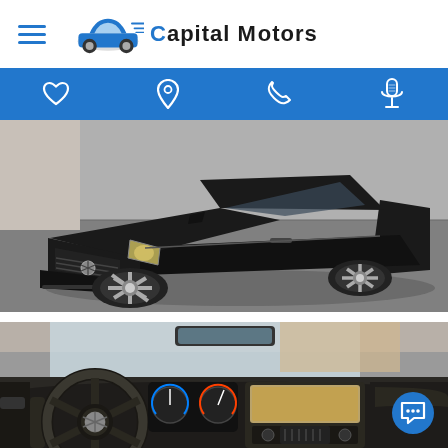Capital Motors — navigation header with hamburger menu and logo
[Figure (other): Blue navigation bar with four icons: heart/favorite, location pin, phone, microphone]
[Figure (photo): Black Mercedes-Benz C-Class sedan photographed from front-left angle in a parking lot, showing the front grille, headlights, and alloy wheel]
[Figure (photo): Interior of Mercedes-Benz C-Class showing steering wheel with Mercedes star logo, dashboard, instrument cluster, center console with radio/navigation unit, and passenger side]